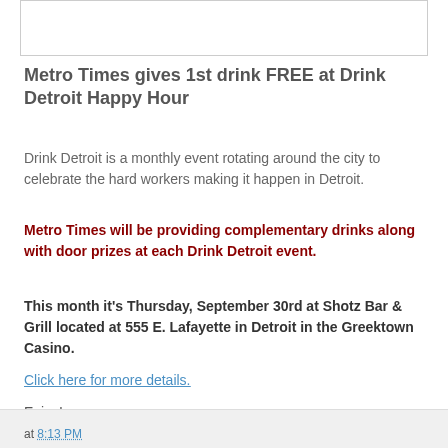[Figure (other): White rectangular image box with border]
Metro Times gives 1st drink FREE at Drink Detroit Happy Hour
Drink Detroit is a monthly event rotating around the city to celebrate the hard workers making it happen in Detroit.
Metro Times will be providing complementary drinks along with door prizes at each Drink Detroit event.
This month it's Thursday, September 30rd at Shotz Bar & Grill located at 555 E. Lafayette in Detroit in the Greektown Casino.
Click here for more details.
Enjoy!
at 8:13 PM